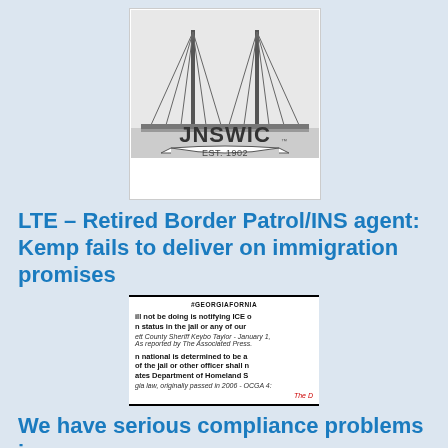[Figure (logo): Brunswick city logo with bridge illustration and text 'JNSWIC EST. 1902']
LTE – Retired Border Patrol/INS agent: Kemp fails to deliver on immigration promises
[Figure (screenshot): Screenshot of social media post with hashtag #GEORGIAFORNIA, text about not notifying ICE of immigration status in jail, quote from Gwinnett County Sheriff Keybo Taylor January 1 as reported by Associated Press, and Georgia law text about Homeland Security, OCGA 42, with red text 'The D']
We have serious compliance problems in